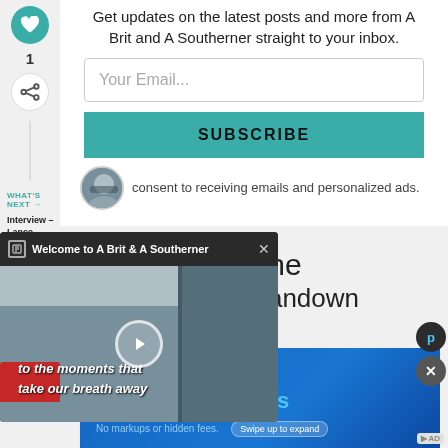Get updates on the latest posts and more from A Brit and A Southerner straight to your inbox.
Your Email...
SUBSCRIBE
consent to receiving emails and personalized ads.
WHAT'S NEXT → Interview – Lance...
[Figure (screenshot): Video popup titled 'Welcome to A Brit & A Southerner' with a mountain/train thumbnail, play button, and text overlay 'to the moments that take our breath away']
rom the
n to Sandown
[Figure (infographic): Advertisement banner: 'Get stocked up in just a few clicks' with subtitle 'No markups or hidden fees.' and 'Swipe up to expand' button on blue background]